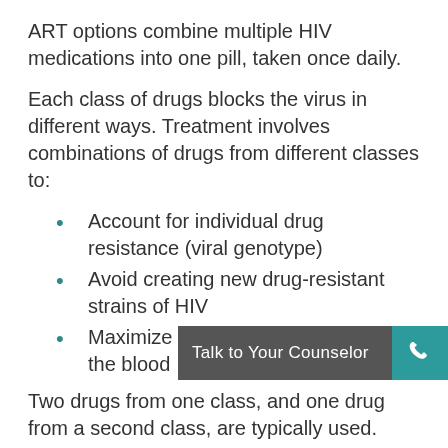ART options combine multiple HIV medications into one pill, taken once daily.
Each class of drugs blocks the virus in different ways. Treatment involves combinations of drugs from different classes to:
Account for individual drug resistance (viral genotype)
Avoid creating new drug-resistant strains of HIV
Maximize suppression of the virus in the blood
Two drugs from one class, and one drug from a second class, are typically used.
The classes of anti-HIV drugs include: